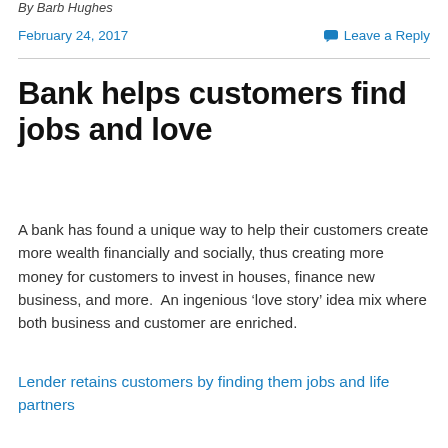By Barb Hughes
February 24, 2017
Leave a Reply
Bank helps customers find jobs and love
A bank has found a unique way to help their customers create more wealth financially and socially, thus creating more money for customers to invest in houses, finance new business, and more.  An ingenious ‘love story’ idea mix where both business and customer are enriched.
Lender retains customers by finding them jobs and life partners